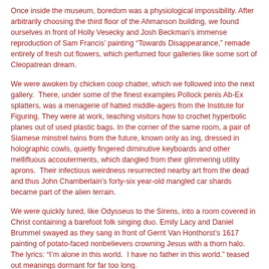Once inside the museum, boredom was a physiological impossibility. After arbitrarily choosing the third floor of the Ahmanson building, we found ourselves in front of Holly Vesecky and Josh Beckman's immense reproduction of Sam Francis' painting “Towards Disappearance,” remade entirely of fresh cut flowers, which perfumed four galleries like some sort of Cleopatrean dream.
We were awoken by chicken coop chatter, which we followed into the next gallery.  There, under some of the finest examples Pollock penis Ab-Ex splatters, was a menagerie of hatted middle-agers from the Institute for Figuring. They were at work, teaching visitors how to crochet hyperbolic planes out of used plastic bags. In the corner of the same room, a pair of Siamese minstrel twins from the future, known only as ing, dressed in holographic cowls, quietly fingered diminutive keyboards and other mellifluous accouterments, which dangled from their glimmering utility aprons.  Their infectious weirdness resurrected nearby art from the dead and thus John Chamberlain's forty-six year-old mangled car shards became part of the alien terrain.
We were quickly lured, like Odysseus to the Sirens, into a room covered in Christ containing a barefoot folk singing duo. Emily Lacy and Daniel Brummel swayed as they sang in front of Gerrit Van Honthorst's 1617 painting of potato-faced nonbelievers crowning Jesus with a thorn halo. The lyrics: “I’m alone in this world.  I have no father in this world.” teased out meanings dormant for far too long.